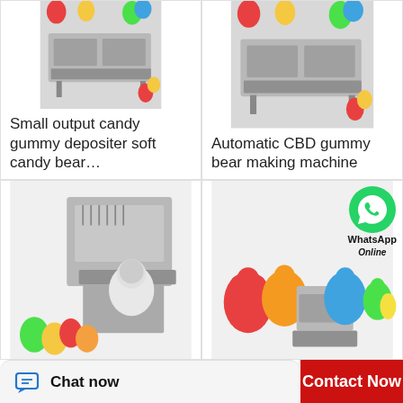[Figure (photo): Small output candy gummy depositer machine with colorful gummy bears around it]
Small output candy gummy depositer soft candy bear…
[Figure (photo): Automatic CBD gummy bear making machine with colorful gummy bears]
Automatic CBD gummy bear making machine
[Figure (photo): Gummy candy making machine with worker in white clean suit and colorful gummy bears]
[Figure (photo): Gummy bear making machine surrounded by large colorful gummy bears with WhatsApp Online overlay]
Chat now
Contact Now